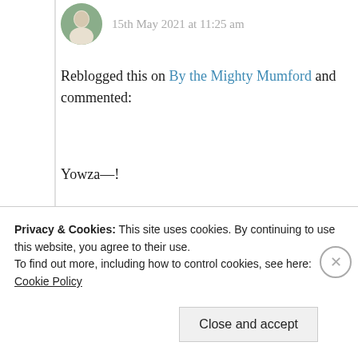15th May 2021 at 11:25 am
Reblogged this on By the Mighty Mumford and commented:
Yowza—!
★ Liked by 1 person
Log in to Reply
Privacy & Cookies: This site uses cookies. By continuing to use this website, you agree to their use.
To find out more, including how to control cookies, see here: Cookie Policy
Close and accept